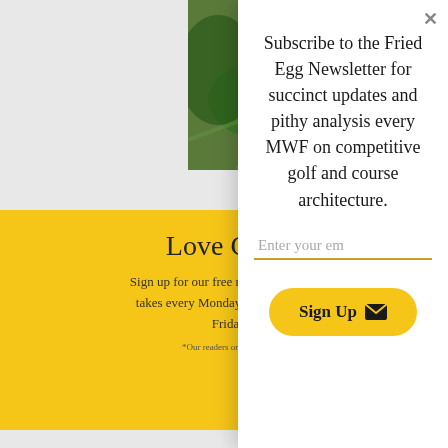[Figure (photo): Aerial view of a golf course with green fairways and sand bunkers]
Love Golf?
Sign up for our free newsletter for fresh takes every Monday, Wednesday, and Friday.
*Our readers only ever b...
Subscribe to the Fried Egg Newsletter for succinct updates and pithy analysis every MWF on competitive golf and course architecture.
Enter your em